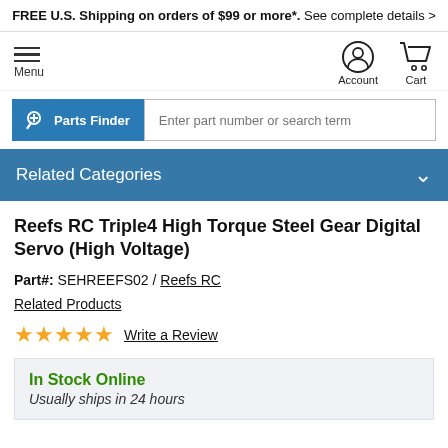FREE U.S. Shipping on orders of $99 or more*.  See complete details >
[Figure (screenshot): Navigation bar with hamburger menu icon (Menu), Account icon, and Cart icon]
[Figure (screenshot): Parts Finder button and search input field with placeholder 'Enter part number or search term']
Related Categories
Reefs RC Triple4 High Torque Steel Gear Digital Servo (High Voltage)
Part#: SEHREEFS02 / Reefs RC
Related Products
★★★★★  Write a Review
In Stock Online
Usually ships in 24 hours